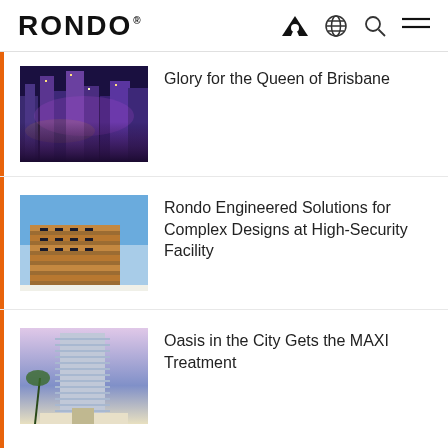RONDO
[Figure (photo): Aerial rendering of Brisbane city buildings at night with purple lighting]
Glory for the Queen of Brisbane
[Figure (photo): Architectural rendering of a modern building with horizontal wooden cladding panels against a blue sky]
Rondo Engineered Solutions for Complex Designs at High-Security Facility
[Figure (photo): Architectural rendering of a tall modern high-rise building with horizontal balcony lines]
Oasis in the City Gets the MAXI Treatment